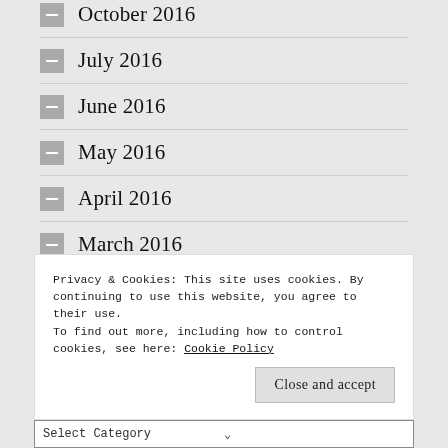October 2016
July 2016
June 2016
May 2016
April 2016
March 2016
February 2016
Privacy & Cookies: This site uses cookies. By continuing to use this website, you agree to their use.
To find out more, including how to control cookies, see here: Cookie Policy
Close and accept
Select Category